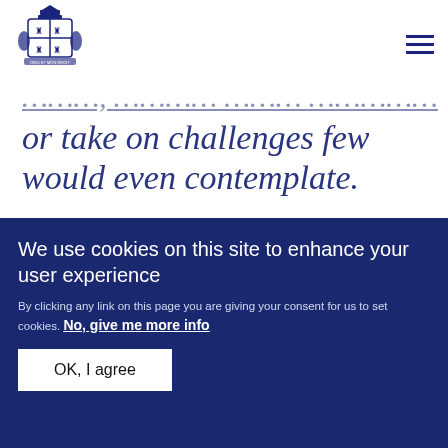[Figure (logo): UK Royal Coat of Arms logo in navy blue]
or take on challenges few would even contemplate.
A speech by Prince Harry at the Endeavour Fund Awards 2018
We use cookies on this site to enhance your user experience
By clicking any link on this page you are giving your consent for us to set cookies. No, give me more info
OK, I agree